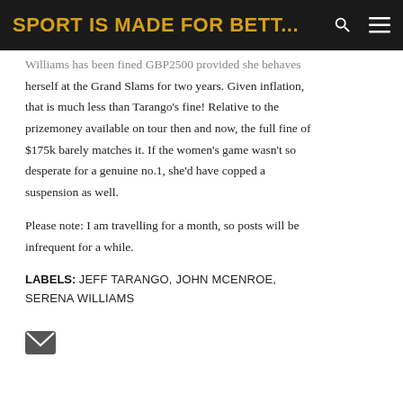SPORT IS MADE FOR BETT...
Williams has been fined GBP2500 provided she behaves herself at the Grand Slams for two years. Given inflation, that is much less than Tarango's fine! Relative to the prizemoney available on tour then and now, the full fine of $175k barely matches it. If the women's game wasn't so desperate for a genuine no.1, she'd have copped a suspension as well.
Please note: I am travelling for a month, so posts will be infrequent for a while.
LABELS: JEFF TARANGO, JOHN MCENROE, SERENA WILLIAMS